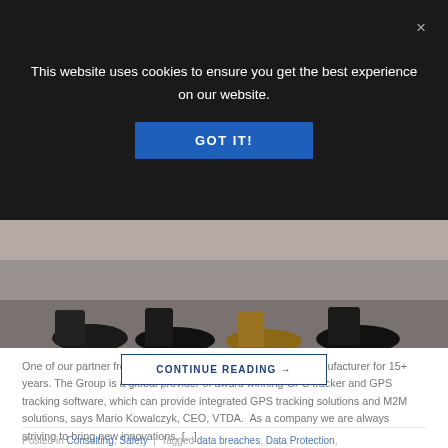This website uses cookies to ensure you get the best experience on our website.
GOT IT!
[Figure (photo): Cropped photo showing lower legs and shoes of several people standing on a light-colored floor. Multiple pairs of dress shoes visible including black and tan leather shoes.]
One of our partner from China is a professional gps tracker manufacturer for 15+ years. The Group is a global provider of award winning GPS tracker and GPS tracking software, which can provide integrated GPS tracking solutions and M2M solutions, says Mario Kowalczyk, CEO, VTDA.  As a company we are always striving to bring new innovations, [...]
CONTINUE READING →
Posted in Consulting, Safety  |  Tagged data breaches, Data Protection,